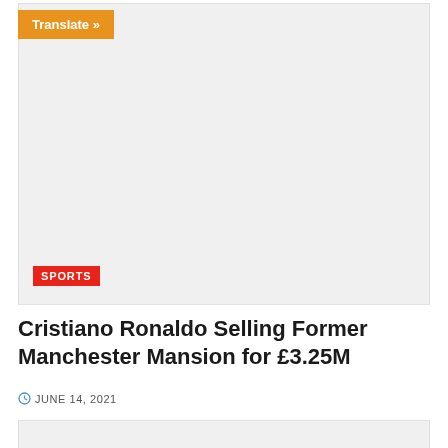Translate »
[Figure (photo): Large image placeholder (light gray background) with a SPORTS category tag overlay in the lower left corner]
Cristiano Ronaldo Selling Former Manchester Mansion for £3.25M
JUNE 14, 2021